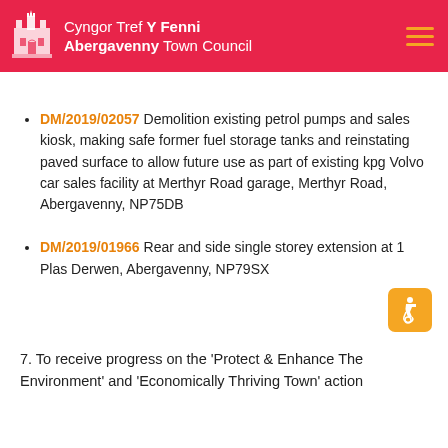Cyngor Tref Y Fenni / Abergavenny Town Council
DM/2019/02057 Demolition existing petrol pumps and sales kiosk, making safe former fuel storage tanks and reinstating paved surface to allow future use as part of existing kpg Volvo car sales facility at Merthyr Road garage, Merthyr Road, Abergavenny, NP75DB
DM/2019/01966 Rear and side single storey extension at 1 Plas Derwen, Abergavenny, NP79SX
7. To receive progress on the 'Protect & Enhance The Environment' and 'Economically Thriving Town' action